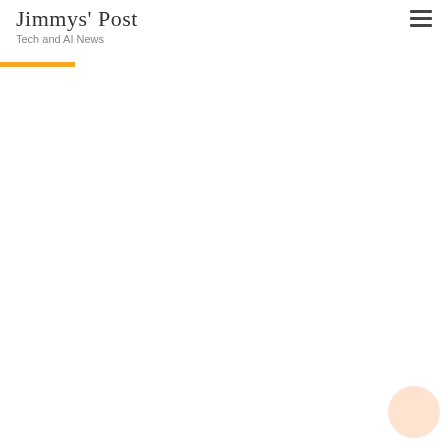Jimmys Post
Tech and AI News
[Figure (other): Large mostly blank content area with a light peach/salmon circle in the bottom right corner, below an orange horizontal bar divider]